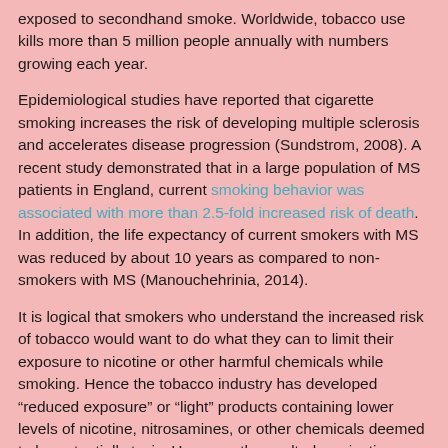exposed to secondhand smoke. Worldwide, tobacco use kills more than 5 million people annually with numbers growing each year.
Epidemiological studies have reported that cigarette smoking increases the risk of developing multiple sclerosis and accelerates disease progression (Sundstrom, 2008). A recent study demonstrated that in a large population of MS patients in England, current smoking behavior was associated with more than 2.5-fold increased risk of death. In addition, the life expectancy of current smokers with MS was reduced by about 10 years as compared to non-smokers with MS (Manouchehrinia, 2014).
It is logical that smokers who understand the increased risk of tobacco would want to do what they can to limit their exposure to nicotine or other harmful chemicals while smoking. Hence the tobacco industry has developed “reduced exposure” or “light” products containing lower levels of nicotine, nitrosamines, or other chemicals deemed to be potentially toxic. However, these ultralow nicotine or tobacco free cigarettes may be worse than their full flavor